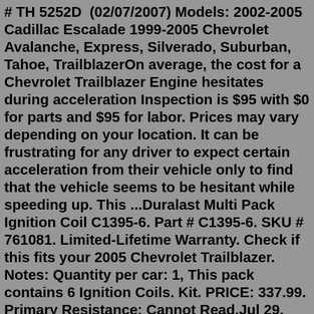# TH 5252D  (02/07/2007) Models: 2002-2005 Cadillac Escalade 1999-2005 Chevrolet Avalanche, Express, Silverado, Suburban, Tahoe, TrailblazerOn average, the cost for a Chevrolet Trailblazer Engine hesitates during acceleration Inspection is $95 with $0 for parts and $95 for labor. Prices may vary depending on your location. It can be frustrating for any driver to expect certain acceleration from their vehicle only to find that the vehicle seems to be hesitant while speeding up. This ...Duralast Multi Pack Ignition Coil C1395-6. Part # C1395-6. SKU # 761081. Limited-Lifetime Warranty. Check if this fits your 2005 Chevrolet Trailblazer. Notes: Quantity per car: 1, This pack contains 6 Ignition Coils. Kit. PRICE: 337.99. Primary Resistance: Cannot Read.Jul 29, 2017 · In the last few days, the car has started having a very rough idle, power is reduced, check engine light is on, and traction control messages are coming on. When I checked the codes today, I was given P0300 (rough idle, not cylinder specific), P2127 (Throttle/Pedal Position Sensor/Switch 'E' Circuit Low), and P050D